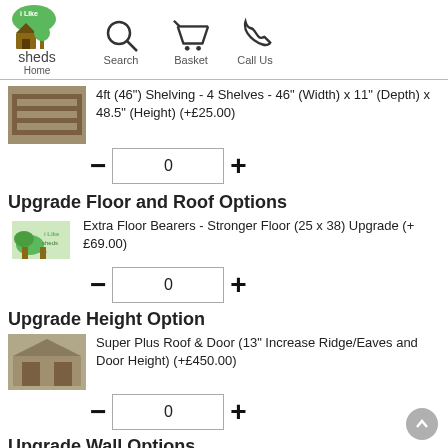Home | Search | Basket | Call Us
4ft (46") Shelving - 4 Shelves - 46" (Width) x 11" (Depth) x 48.5" (Height) (+£25.00)
Upgrade Floor and Roof Options
Extra Floor Bearers - Stronger Floor (25 x 38) Upgrade (+ £69.00)
Upgrade Height Option
Super Plus Roof & Door (13" Increase Ridge/Eaves and Door Height) (+£450.00)
Upgrade Wall Options
19mm Tongue & Groove Wall Thickness Upgrade (+